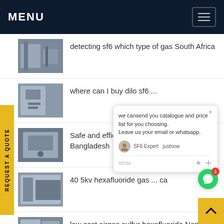MENU
detecting sf6 which type of gas South Africa
where can I buy dilo sf6 ...
Safe and efficient dilo sf6 gas analyser Bangladesh
40 5kv hexafluoride gas ... ca
low cost airgas sulfur hexafluoride North America
oem sf6 gas circuit breaker Hong Ko...
[Figure (screenshot): Chat popup with SF6 Expert agent offering to send catalogue and price list, with input field and icons]